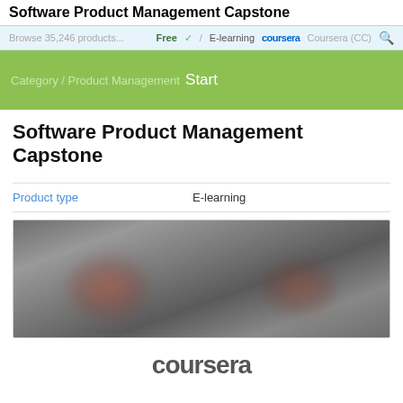Software Product Management Capstone
Free ✓ / E-learning coursera Coursera (CC)
Category / Product Management  Start
Software Product Management Capstone
Product type    E-learning
[Figure (photo): Blurred thumbnail image with dark warm tones showing indistinct figures, serving as course preview image]
[Figure (logo): Coursera logo in large bold gray text at bottom of page]